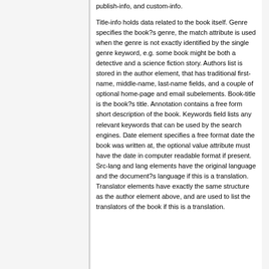publish-info, and custom-info.
Title-info holds data related to the book itself. Genre specifies the book?s genre, the match attribute is used when the genre is not exactly identified by the single genre keyword, e.g. some book might be both a detective and a science fiction story. Authors list is stored in the author element, that has traditional first-name, middle-name, last-name fields, and a couple of optional home-page and email subelements. Book-title is the book?s title. Annotation contains a free form short description of the book. Keywords field lists any relevant keywords that can be used by the search engines. Date element specifies a free format date the book was written at, the optional value attribute must have the date in computer readable format if present. Src-lang and lang elements have the original language and the document?s language if this is a translation. Translator elements have exactly the same structure as the author element above, and are used to list the translators of the book if this is a translation.